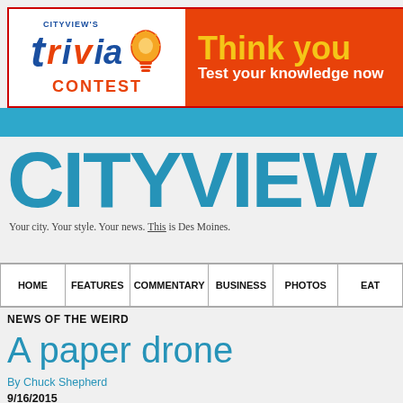[Figure (infographic): Cityview's Trivia Contest banner advertisement. Left side: white background with 'CITYVIEW'S trivia CONTEST' logo and a lightbulb illustration. Right side: orange/red background with 'Think you' in yellow and 'Test your knowledge now' in white.]
[Figure (logo): Blue horizontal navigation strip]
CITYVIEW
Your city. Your style. Your news. This is Des Moines.
HOME | FEATURES | COMMENTARY | BUSINESS | PHOTOS | EAT
NEWS OF THE WEIRD
A paper drone
By Chuck Shepherd
9/16/2015